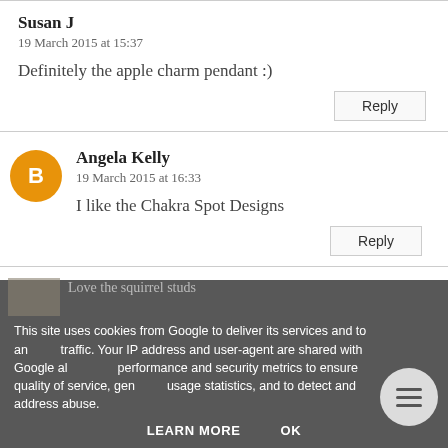Susan J
19 March 2015 at 15:37
Definitely the apple charm pendant :)
Reply
Angela Kelly
19 March 2015 at 16:33
I like the Chakra Spot Designs
Reply
This site uses cookies from Google to deliver its services and to analyze traffic. Your IP address and user-agent are shared with Google along with performance and security metrics to ensure quality of service, generate usage statistics, and to detect and address abuse.
Love the squirrel studs
LEARN MORE
OK